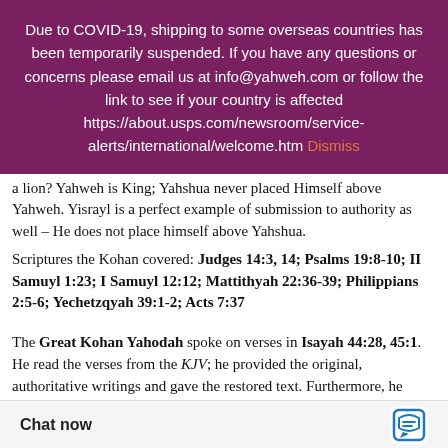Due to COVID-19, shipping to some overseas countries has been temporarily suspended. If you have any questions or concerns please email us at info@yahweh.com or follow the link to see if your country is affected https://about.usps.com/newsroom/service-alerts/international/welcome.htm Dismiss
a lion? Yahweh is King; Yahshua never placed Himself above Yahweh. Yisrayl is a perfect example of submission to authority as well – He does not place himself above Yahshua.
Scriptures the Kohan covered: Judges 14:3, 14; Psalms 19:8-10; II Samuyl 1:23; I Samuyl 12:12; Mattithyah 22:36-39; Philippians 2:5-6; Yechetzqyah 39:1-2; Acts 7:37
The Great Kohan Yahodah spoke on verses in Isayah 44:28, 45:1. He read the verses from the KJV; he provided the original, authoritative writings and gave the restored text. Furthermore, he explained political strategy of the time with its extension today in forms of Warsaw Pack, NA… peace.
Chat now